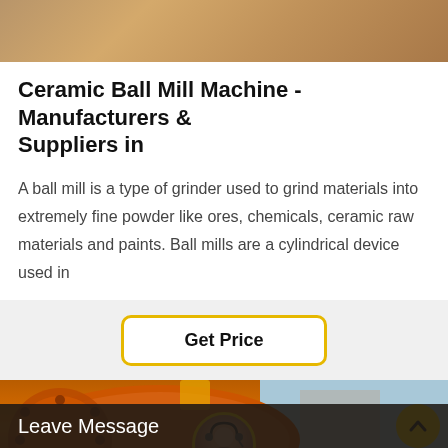[Figure (photo): Top partial image of industrial machinery, brownish-tan colored surface, cropped at top of page]
Ceramic Ball Mill Machine - Manufacturers & Suppliers in
A ball mill is a type of grinder used to grind materials into extremely fine powder like ores, chemicals, ceramic raw materials and paints. Ball mills are a cylindrical device used in
[Figure (other): Get Price button with yellow border on light gray background]
[Figure (photo): Large orange industrial ball mill machine photographed outdoors against a building and blue sky. A customer service representative avatar with headset is overlaid in a circular frame at the bottom center. A yellow back-to-top arrow button appears at bottom right. A dark Leave Message bar is at the bottom.]